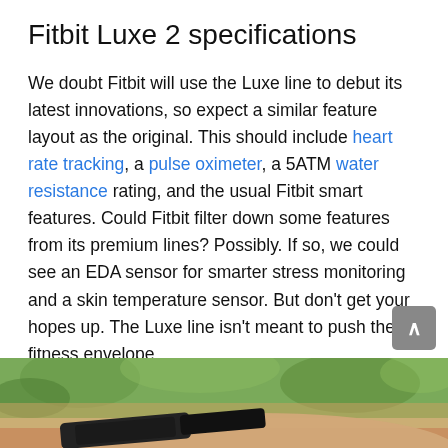Fitbit Luxe 2 specifications
We doubt Fitbit will use the Luxe line to debut its latest innovations, so expect a similar feature layout as the original. This should include heart rate tracking, a pulse oximeter, a 5ATM water resistance rating, and the usual Fitbit smart features. Could Fitbit filter down some features from its premium lines? Possibly. If so, we could see an EDA sensor for smarter stress monitoring and a skin temperature sensor. But don't get your hopes up. The Luxe line isn't meant to push the fitness envelope.
What will the Fitbit Luxe 2 price be?
[Figure (photo): Photo of a person's wrist wearing a dark Fitbit band, with a green outdoor background]